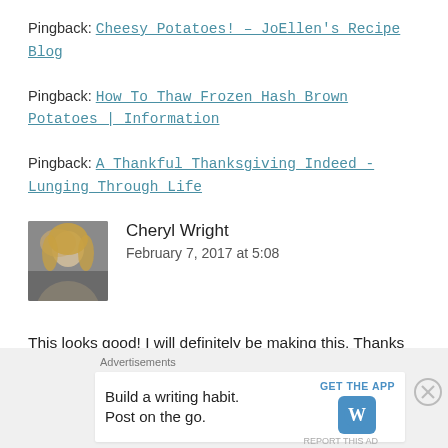Pingback: Cheesy Potatoes! – JoEllen's Recipe Blog
Pingback: How To Thaw Frozen Hash Brown Potatoes | Information
Pingback: A Thankful Thanksgiving Indeed - Lunging Through Life
Cheryl Wright
February 7, 2017 at 5:08
This looks good! I will definitely be making this. Thanks for sharing.
Advertisements
Build a writing habit. Post on the go. GET THE APP